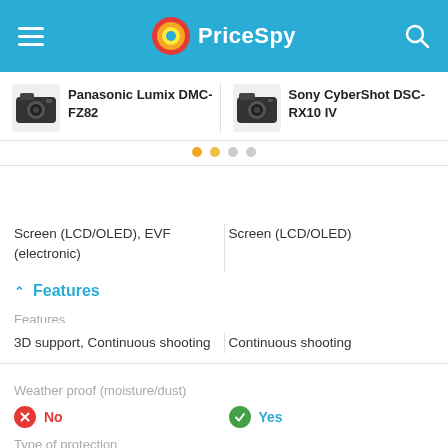PriceSpy
Panasonic Lumix DMC-FZ82 | Sony CyberShot DSC-RX10 IV
Screen (LCD/OLED), EVF (electronic) | Screen (LCD/OLED)
Features
Features
3D support, Continuous shooting | Continuous shooting
Weather proof (moisture/dust)
No | Yes
Type of protection